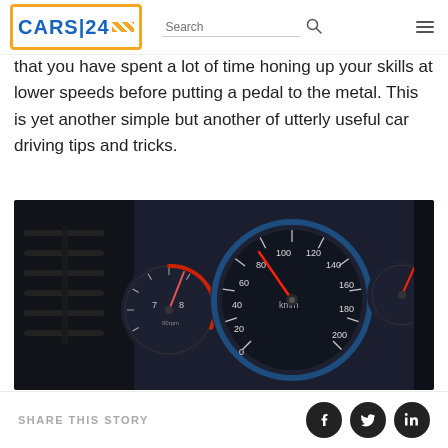CARS24 — Search navigation header
that you have spent a lot of time honing up your skills at lower speeds before putting a pedal to the metal. This is yet another simple but another of utterly useful car driving tips and tricks.
[Figure (photo): Close-up photo of a car speedometer/instrument cluster showing km/h gauge with needle pointing near 60, blue ring accent, RPM gauge, and dark dashboard interior]
SHARE THIS STORY — Facebook, Twitter, LinkedIn icons